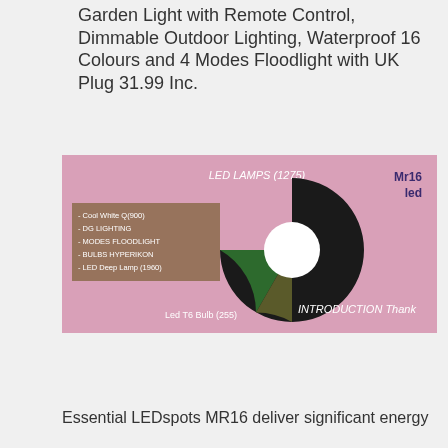Garden Light with Remote Control, Dimmable Outdoor Lighting, Waterproof 16 Colours and 4 Modes Floodlight with UK Plug 31.99 Inc.
[Figure (donut-chart): Donut chart on pink background showing LED lamp categories. Large dark/black segment dominates, with green and olive segments. Legend on left lists 5 items. Labels: LED LAMPS (1275) at top, Led T6 Bulb (255) at bottom left, INTRODUCTION Thank at bottom right. Mr16 led label at top right.]
Essential LEDspots MR16 deliver significant energy